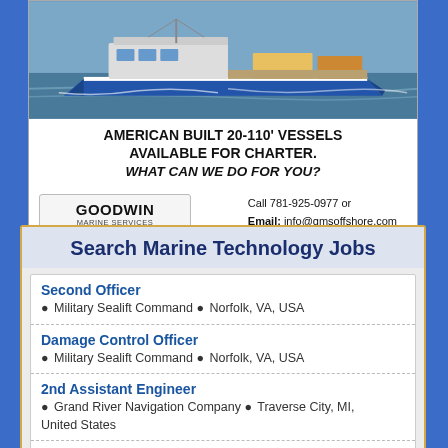[Figure (photo): Photo of a blue and white commercial vessel/boat on water]
AMERICAN BUILT 20-110' VESSELS AVAILABLE FOR CHARTER.
WHAT CAN WE DO FOR YOU?
[Figure (logo): Goodwin Marine Services logo, Hull, MA, 781-925-1598]
Call 781-925-0977 or
Email: info@gmsoffshore.com
Website: www.gmsoffshore.com
Search Marine Technology Jobs
Second Officer
● Military Sealift Command ● Norfolk, VA, USA
Damage Control Officer
● Military Sealift Command ● Norfolk, VA, USA
2nd Assistant Engineer
● Grand River Navigation Company ● Traverse City, MI, United States
3rd Mate
● Grand River Navigation Company ● Traverse City, MI,